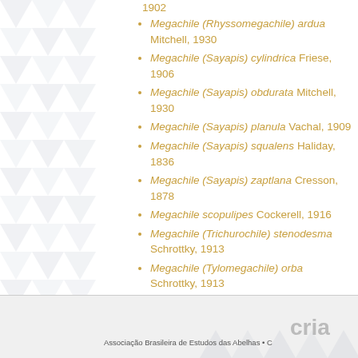Megachile (Rhyssomegachile) ardua Mitchell, 1930
Megachile (Sayapis) cylindrica Friese, 1906
Megachile (Sayapis) obdurata Mitchell, 1930
Megachile (Sayapis) planula Vachal, 1909
Megachile (Sayapis) squalens Haliday, 1836
Megachile (Sayapis) zaptlana Cresson, 1878
Megachile scopulipes Cockerell, 1916
Megachile (Trichurochile) stenodesma Schrottky, 1913
Megachile (Tylomegachile) orba Schrottky, 1913
Associação Brasileira de Estudos das Abelhas • C